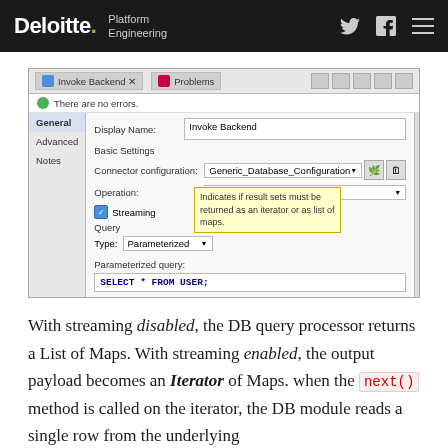Deloitte. Platform Engineering
[Figure (screenshot): Eclipse IDE screenshot showing Invoke Backend connector configuration with Streaming tooltip, Generic_Database_Configuration connector, Select operation, and SELECT * FROM USER; query.]
With streaming disabled, the DB query processor returns a List of Maps. With streaming enabled, the output payload becomes an Iterator of Maps. when the next() method is called on the iterator, the DB module reads a single row from the underlying